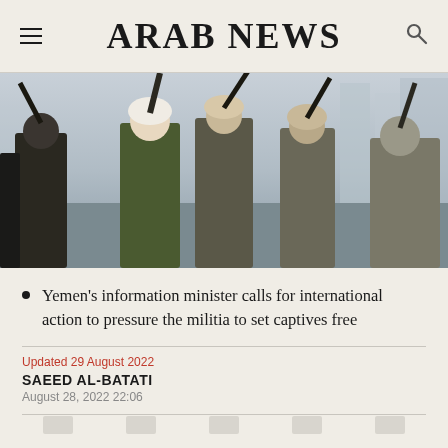ARAB NEWS
[Figure (photo): Several armed men seen from behind, holding rifles raised in the air, wearing traditional and military clothing, with buildings in the blurred background.]
Yemen's information minister calls for international action to pressure the militia to set captives free
Updated 29 August 2022
SAEED AL-BATATI
August 28, 2022 22:06